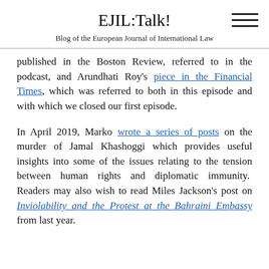EJIL:Talk!
Blog of the European Journal of International Law
published in the Boston Review, referred to in the podcast, and Arundhati Roy's piece in the Financial Times, which was referred to both in this episode and with which we closed our first episode.
In April 2019, Marko wrote a series of posts on the murder of Jamal Khashoggi which provides useful insights into some of the issues relating to the tension between human rights and diplomatic immunity. Readers may also wish to read Miles Jackson's post on Inviolability and the Protest at the Bahraini Embassy from last year.